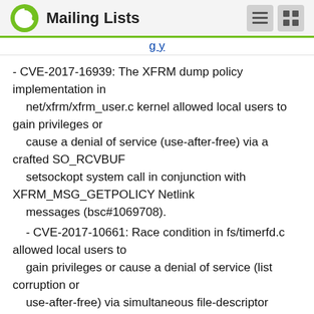Mailing Lists
- CVE-2017-16939: The XFRM dump policy implementation in
    net/xfrm/xfrm_user.c kernel allowed local users to gain privileges or
    cause a denial of service (use-after-free) via a crafted SO_RCVBUF
    setsockopt system call in conjunction with XFRM_MSG_GETPOLICY Netlink
    messages (bsc#1069708).
- CVE-2017-10661: Race condition in fs/timerfd.c allowed local users to
    gain privileges or cause a denial of service (list corruption or
    use-after-free) via simultaneous file-descriptor operations that